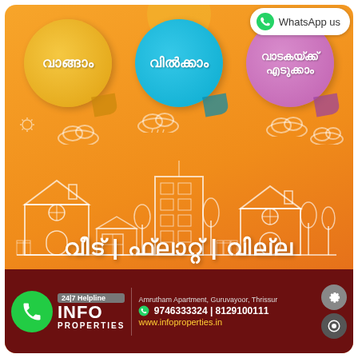[Figure (infographic): Real estate promotional advertisement in Malayalam. Orange background with three circular badge stickers labeled Buy, Sell, Rent (in Malayalam). City skyline illustration with houses and buildings. Main text in Malayalam: House / Flat / Villa. Bottom bar with INFO PROPERTIES logo, phone numbers 9746333324 and 8129100111, address Amrutham Apartment, Guruvayoor, Thrissur, website www.infoproperties.in, 24/7 Helpline badge.]
WhatsApp us
വാങ്ങാം
വിൽക്കാം
വാടകയ്ക്ക് എടുക്കാം
വീട് | ഫ്ലാറ്റ് | വില്ല
24|7 Helpline
INFO PROPERTIES
Amrutham Apartment, Guruvayoor, Thrissur
9746333324 | 8129100111
www.infoproperties.in